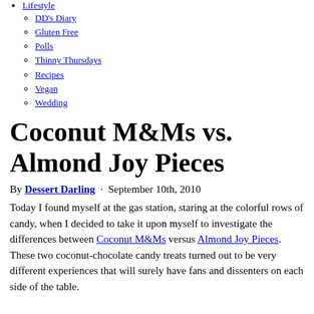Lifestyle
DD's Diary
Gluten Free
Polls
Thinny Thursdays
Recipes
Vegan
Wedding
Coconut M&Ms vs. Almond Joy Pieces
By Dessert Darling · September 10th, 2010
Today I found myself at the gas station, staring at the colorful rows of candy, when I decided to take it upon myself to investigate the differences between Coconut M&Ms versus Almond Joy Pieces. These two coconut-chocolate candy treats turned out to be very different experiences that will surely have fans and dissenters on each side of the table.